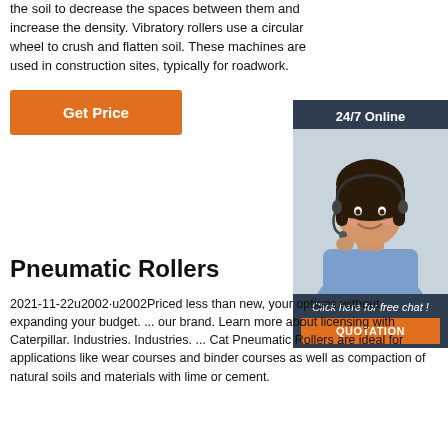the soil to decrease the spaces between them and increase the density. Vibratory rollers use a circular wheel to crush and flatten soil. These machines are used in construction sites, typically for roadwork.
Get Price
[Figure (illustration): 24/7 Online chat widget with a customer service representative wearing a headset, dark navy background, with 'Click here for free chat!' text and an orange QUOTATION button.]
Pneumatic Rollers
2021-11-22u2002·u2002Priced less than new, your options without expanding your budget. ... our brand. Learn more about licensing with Caterpillar. Industries. Industries. ... Cat Pneumatic Rollers are ideal for applications like wear courses and binder courses as well as compaction of natural soils and materials with lime or cement.